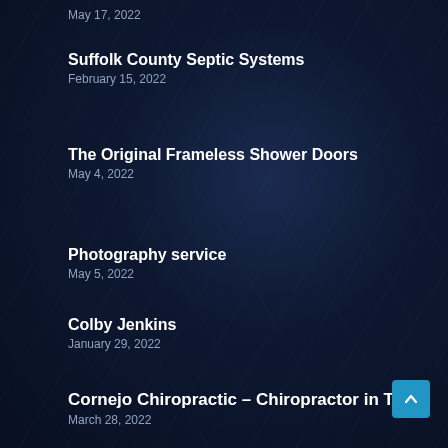May 17, 2022
Suffolk County Septic Systems
February 15, 2022
The Original Frameless Shower Doors
May 4, 2022
Photography service
May 5, 2022
Colby Jenkins
January 29, 2022
Cornejo Chiropractic – Chiropractor in Tyler
March 28, 2022